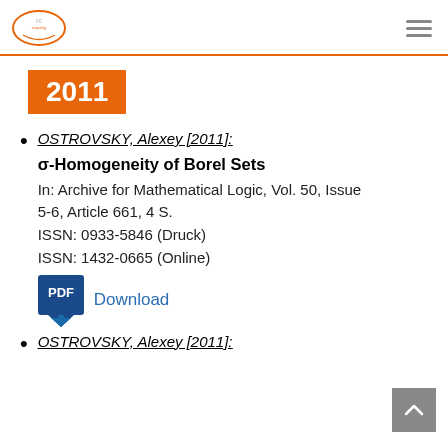VC Computing logo and navigation
2011
OSTROVSKY, Alexey [2011]: σ-Homogeneity of Borel Sets. In: Archive for Mathematical Logic, Vol. 50, Issue 5-6, Article 661, 4 S. ISSN: 0933-5846 (Druck) ISSN: 1432-0665 (Online) Download
OSTROVSKY, Alexey [2011]: